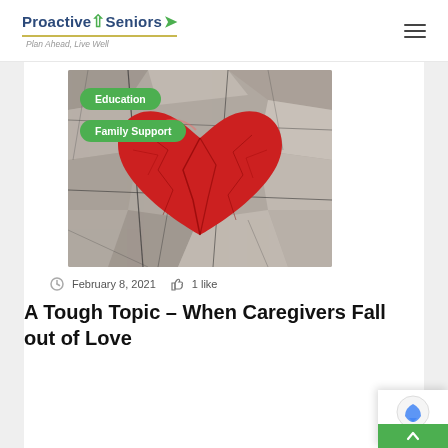Proactive Seniors — Plan Ahead, Live Well
[Figure (photo): A cracked, dry earth background in black and white with a red heart shape in the center, overlaid with two green pill-shaped tags reading 'Education' and 'Family Support']
February 8, 2021  1 like
A Tough Topic – When Caregivers Fall out of Love